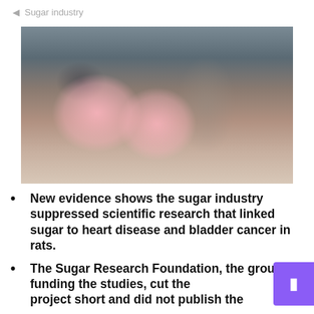◁  Sugar industry
[Figure (photo): Two people eating pink cotton candy at an outdoor market/fair, with a colorful crowd in the background.]
New evidence shows the sugar industry suppressed scientific research that linked sugar to heart disease and bladder cancer in rats.
The Sugar Research Foundation, the group funding the studies, cut the project short and did not publish the